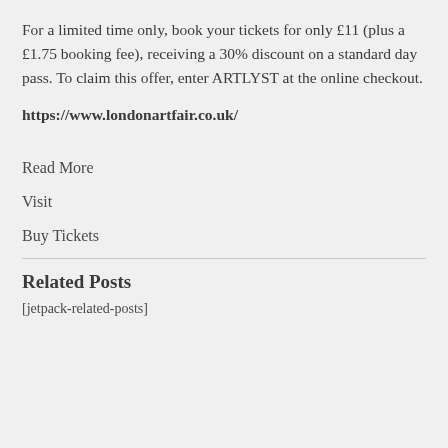For a limited time only, book your tickets for only £11 (plus a £1.75 booking fee), receiving a 30% discount on a standard day pass. To claim this offer, enter ARTLYST at the online checkout.
https://www.londonartfair.co.uk/
Read More
Visit
Buy Tickets
Related Posts
[jetpack-related-posts]